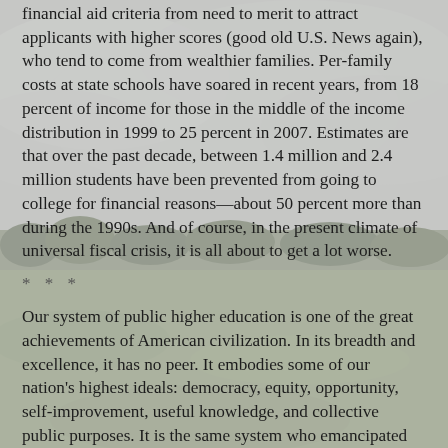financial aid criteria from need to merit to attract applicants with higher scores (good old U.S. News again), who tend to come from wealthier families. Per-family costs at state schools have soared in recent years, from 18 percent of income for those in the middle of the income distribution in 1999 to 25 percent in 2007. Estimates are that over the past decade, between 1.4 million and 2.4 million students have been prevented from going to college for financial reasons—about 50 percent more than during the 1990s. And of course, in the present climate of universal fiscal crisis, it is all about to get a lot worse.
* * *
[Figure (photo): A blurred outdoor landscape photo showing green fields, trees, and a cloudy overcast sky, serving as a background image behind the text.]
Our system of public higher education is one of the great achievements of American civilization. In its breadth and excellence, it has no peer. It embodies some of our nation's highest ideals: democracy, equity, opportunity, self-improvement, useful knowledge, and collective public purposes. It is the same system who emancipated the slaves and funded the transcontinental railroad signed the Morrill Land Grant Act of 1862, which set the system on its feet.